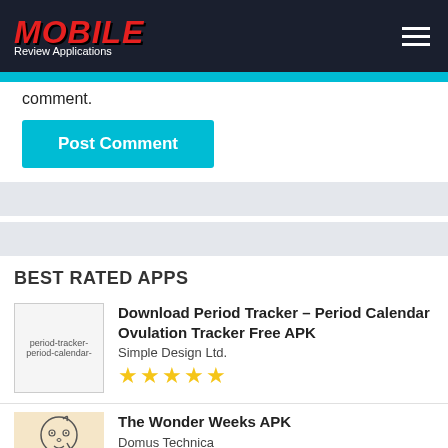MOBILE Review Applications
comment.
Post Comment
BEST RATED APPS
[Figure (screenshot): App icon placeholder for period tracker app]
Download Period Tracker – Period Calendar Ovulation Tracker Free APK
Simple Design Ltd.
★★★★★
[Figure (illustration): Cartoon baby illustration on beige background for The Wonder Weeks APK]
The Wonder Weeks APK
Domus Technica
★★★★½